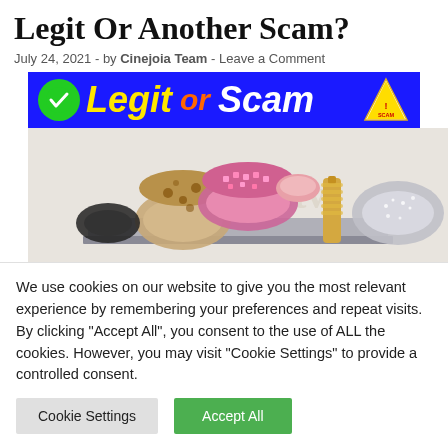Legit Or Another Scam?
July 24, 2021  -  by Cinejoia Team  -  Leave a Comment
[Figure (infographic): Blue banner reading 'Legit or Scam' with green checkmark and warning triangle icon, followed by jewelry product photo showing bracelets and cuffs on a display stand]
We use cookies on our website to give you the most relevant experience by remembering your preferences and repeat visits. By clicking "Accept All", you consent to the use of ALL the cookies. However, you may visit "Cookie Settings" to provide a controlled consent.
Cookie Settings | Accept All